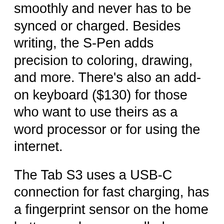smoothly and never has to be synced or charged. Besides writing, the S-Pen adds precision to coloring, drawing, and more. There's also an add-on keyboard ($130) for those who want to use theirs as a word processor or for using the internet.
The Tab S3 uses a USB-C connection for fast charging, has a fingerprint sensor on the home button, and uses an all-glass design, rather than aluminum like most tablets do. Unlike your iPhone, this tablet is equipped with a standard headphone jack, so that you can use your current headphones with it.
The Tab S3 really shines when playing video. The screen is crisp and sharp, and the sound is loud and clear thanks to the four-speaker setup. It is the first and so far the only, HDR-ready